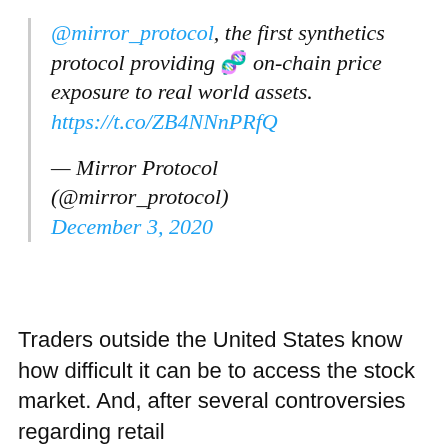@mirror_protocol, the first synthetics protocol providing 🧬 on-chain price exposure to real world assets. https://t.co/ZB4NNnPRfQ

— Mirror Protocol (@mirror_protocol) December 3, 2020
Traders outside the United States know how difficult it can be to access the stock market. And, after several controversies regarding retail